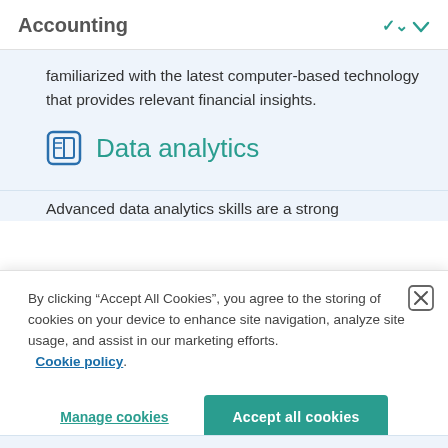Accounting
familiarized with the latest computer-based technology that provides relevant financial insights.
Data analytics
Advanced data analytics skills are a strong
By clicking “Accept All Cookies”, you agree to the storing of cookies on your device to enhance site navigation, analyze site usage, and assist in our marketing efforts. Cookie policy.
Manage cookies
Accept all cookies